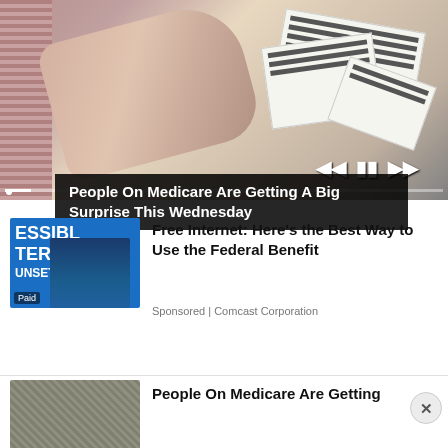[Figure (screenshot): Video thumbnail showing a hand holding papers/mail with media player controls overlay]
People On Medicare Are Getting A Big Surprise This Wednesday
[Figure (photo): Advertisement thumbnail with blue background showing ESSIBL TERNE UNSET text and figure speaking]
Free Internet: Here's the Best Way to Use the Federal Benefit
Sponsored | Comcast Corporation
[Figure (photo): Second advertisement thumbnail showing patterned background]
People On Medicare Are Getting